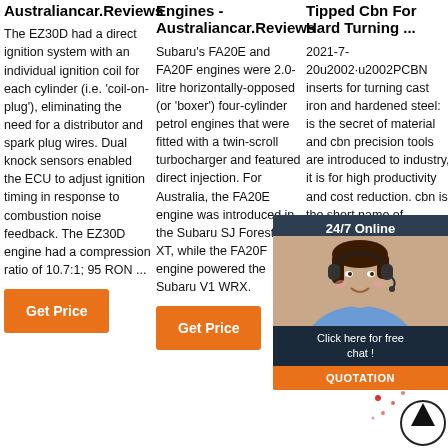Australiancar.Reviews
The EZ30D had a direct ignition system with an individual ignition coil for each cylinder (i.e. 'coil-on-plug'), eliminating the need for a distributor and spark plug wires. Dual knock sensors enabled the ECU to adjust ignition timing in response to combustion noise feedback. The EZ30D engine had a compression ratio of 10.7:1; 95 RON ...
Get Price
Engines - Australiancar.Reviews
Subaru's FA20E and FA20F engines were 2.0-litre horizontally-opposed (or 'boxer') four-cylinder petrol engines that were fitted with a twin-scroll turbocharger and featured direct injection. For Australia, the FA20E engine was introduced in the Subaru SJ Forester XT, while the FA20F engine powered the Subaru V1 WRX.
Get Price
Tipped Cbn For Hard Turning ...
2021-7-20u2002·u2002PCBN inserts for turning cast iron and hardened steel: is the secret of material and cbn precision tools are introduced to industry, it is for high productivity and cost reduction. cbn is the short name of polycrystalline cubic boron nitride, and pcbn inserts are mainly for the hard metal turning to replace the conventional machining way of grinding.
[Figure (infographic): Chat popup overlay showing a woman with headset, '24/7 Online' label, 'Click here for free chat!' text, and orange QUOTATION button]